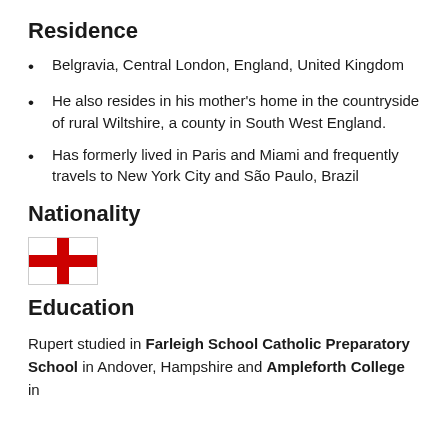Residence
Belgravia, Central London, England, United Kingdom
He also resides in his mother's home in the countryside of rural Wiltshire, a county in South West England.
Has formerly lived in Paris and Miami and frequently travels to New York City and São Paulo, Brazil
Nationality
[Figure (illustration): Flag of England — white background with a red cross (St George's Cross)]
Education
Rupert studied in Farleigh School Catholic Preparatory School in Andover, Hampshire and Ampleforth College in